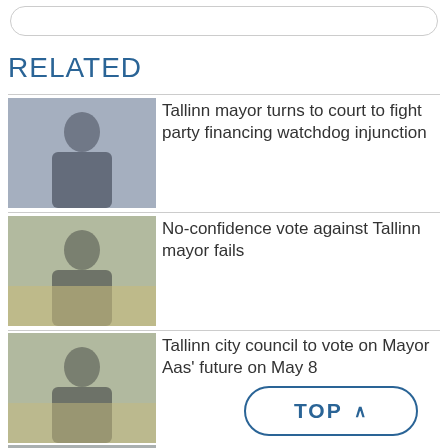RELATED
[Figure (photo): Photo of a man in a suit and tie, seated, indoors]
Tallinn mayor turns to court to fight party financing watchdog injunction
[Figure (photo): Photo of a man in a grey suit seated in a council chamber with wooden seats]
No-confidence vote against Tallinn mayor fails
[Figure (photo): Photo of a man in a grey suit seated in a council chamber]
Tallinn city council to vote on Mayor Aas' future on May 8
[Figure (photo): Photo of a man partially visible at bottom]
Opposition plan... motion against Tallinn Mayor Taavi